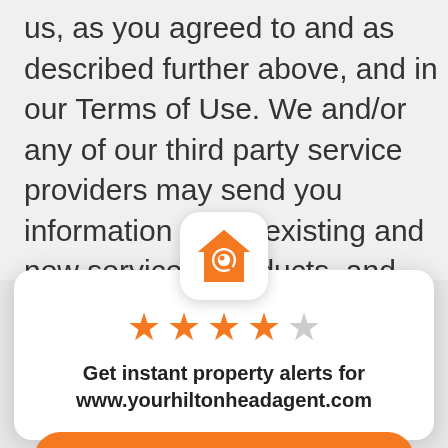us, as you agreed to and as described further above, and in our Terms of Use. We and/or any of our third party service providers may send you information about existing and new services, products, and special offers by email, telephone,
[Figure (logo): Orange house with magnifying glass app icon on white rounded square background]
[Figure (other): 4 out of 5 stars rating — four filled orange stars and one empty grey star]
Get instant property alerts for www.yourhiltonheadagent.com
Get the MoveTo App
Not Now